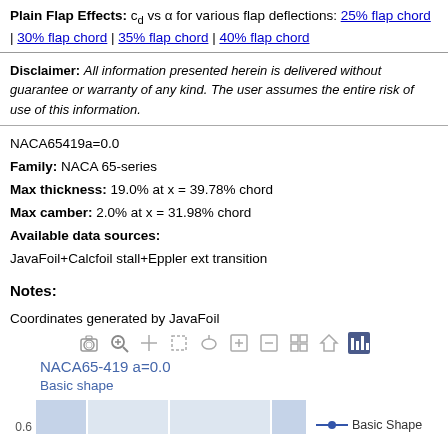Plain Flap Effects: c_d vs α for various flap deflections: 25% flap chord | 30% flap chord | 35% flap chord | 40% flap chord
Disclaimer: All information presented herein is delivered without guarantee or warranty of any kind. The user assumes the entire risk of use of this information.
NACA65419a=0.0
Family: NACA 65-series
Max thickness: 19.0% at x = 39.78% chord
Max camber: 2.0% at x = 31.98% chord
Available data sources:
JavaFoil+Calcfoil stall+Eppler ext transition
Notes:
Coordinates generated by JavaFoil
[Figure (other): Partial view of a line chart for NACA65-419 a=0.0, Basic shape, showing the top of the chart with blue bars/columns visible and a legend entry for 'Basic Shape' with a blue line and dot marker. Y-axis label 0.6 is visible.]